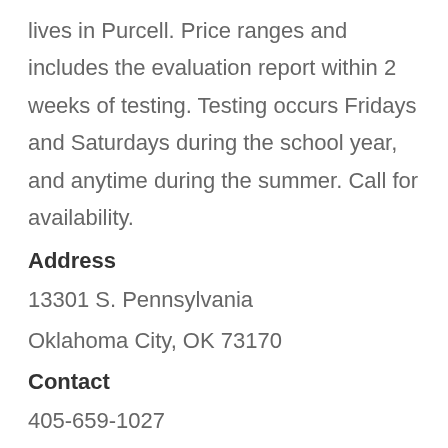lives in Purcell. Price ranges and includes the evaluation report within 2 weeks of testing. Testing occurs Fridays and Saturdays during the school year, and anytime during the summer. Call for availability.
Address
13301 S. Pennsylvania
Oklahoma City, OK 73170
Contact
405-659-1027
Email